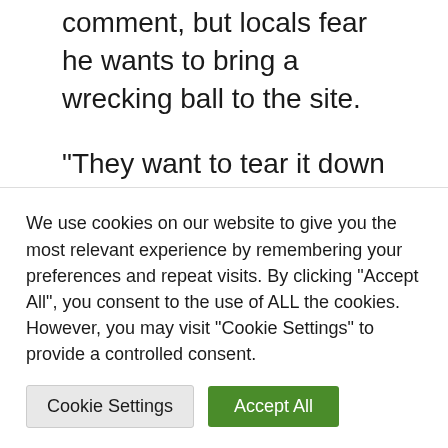comment, but locals fear he wants to bring a wrecking ball to the site.
“They want to tear it down so they can build a bigger, more modern house with the latest architecture,” one commenter wrote on Martino’s Vintage Los Angeles Facebook page.
“The thought of this immaculately well-
We use cookies on our website to give you the most relevant experience by remembering your preferences and repeat visits. By clicking “Accept All”, you consent to the use of ALL the cookies. However, you may visit "Cookie Settings" to provide a controlled consent.